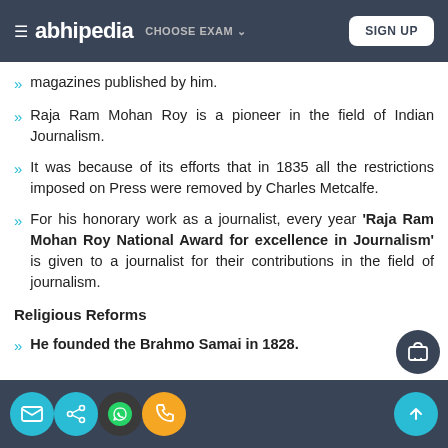≡ abhipedia  CHOOSE EXAM ∨  SIGN UP
magazines published by him.
Raja Ram Mohan Roy is a pioneer in the field of Indian Journalism.
It was because of its efforts that in 1835 all the restrictions imposed on Press were removed by Charles Metcalfe.
For his honorary work as a journalist, every year 'Raja Ram Mohan Roy National Award for excellence in Journalism' is given to a journalist for their contributions in the field of journalism.
Religious Reforms
He founded the Brahmo Samai in 1828.